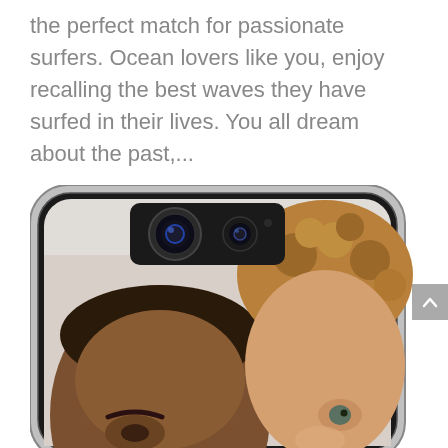the perfect match for passionate surfers. Ocean lovers like you, enjoy recalling the best waves they have surfed in their lives. You all dream about the past,...
[Figure (photo): A smartphone (iPhone-style) with a custom photo case showing two faces — a dark-skinned adult and a light-skinned curly-haired child smiling — photographed from the back showing the camera module area.]